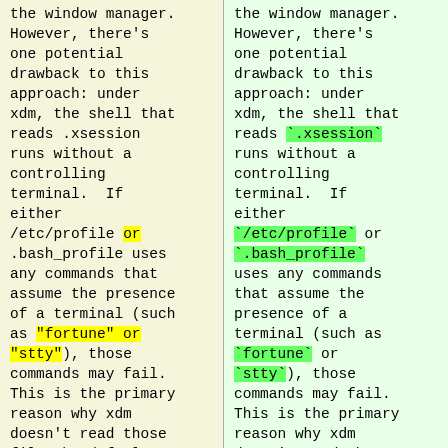the window manager. However, there's one potential drawback to this approach: under xdm, the shell that reads .xsession runs without a controlling terminal.  If either /etc/profile or .bash_profile uses any commands that assume the presence of a terminal (such as "fortune" or "stty"), those commands may fail. This is the primary reason why xdm doesn't read those files by default. If you're going to use this approach,
the window manager. However, there's one potential drawback to this approach: under xdm, the shell that reads `.xsession` runs without a controlling terminal.  If either `/etc/profile` or `.bash_profile` uses any commands that assume the presence of a terminal (such as `fortune` or `stty`), those commands may fail. This is the primary reason why xdm doesn't read those files by default. If you're going to